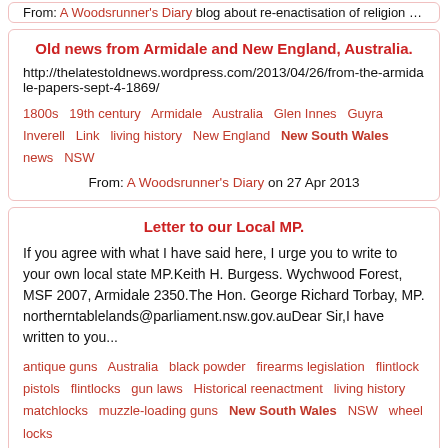From: A Woodsrunner's Diary blog about re-enactisation of religion on 27 Feb 2021
Old news from Armidale and New England, Australia.
http://thelatestoldnews.wordpress.com/2013/04/26/from-the-armidale-papers-sept-4-1869/
1800s  19th century  Armidale  Australia  Glen Innes  Guyra  Inverell  Link  living history  New England  New South Wales  news  NSW
From: A Woodsrunner's Diary on 27 Apr 2013
Letter to our Local MP.
If you agree with what I have said here, I urge you to write to your own local state MP.Keith H. Burgess. Wychwood Forest, MSF 2007, Armidale 2350.The Hon. George Richard Torbay, MP. northerntablelands@parliament.nsw.gov.auDear Sir,I have written to you...
antique guns  Australia  black powder  firearms legislation  flintlock pistols  flintlocks  gun laws  Historical reenactment  living history  matchlocks  muzzle-loading guns  New South Wales  NSW  wheel locks
From: A Woodsrunner's Diary on 18 Mar 2013